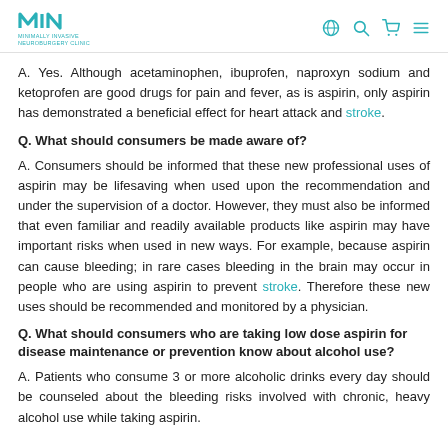MIN Minimally Invasive Neuroburgery Clinic
A. Yes. Although acetaminophen, ibuprofen, naproxyn sodium and ketoprofen are good drugs for pain and fever, as is aspirin, only aspirin has demonstrated a beneficial effect for heart attack and stroke.
Q. What should consumers be made aware of?
A. Consumers should be informed that these new professional uses of aspirin may be lifesaving when used upon the recommendation and under the supervision of a doctor. However, they must also be informed that even familiar and readily available products like aspirin may have important risks when used in new ways. For example, because aspirin can cause bleeding; in rare cases bleeding in the brain may occur in people who are using aspirin to prevent stroke. Therefore these new uses should be recommended and monitored by a physician.
Q. What should consumers who are taking low dose aspirin for disease maintenance or prevention know about alcohol use?
A. Patients who consume 3 or more alcoholic drinks every day should be counseled about the bleeding risks involved with chronic, heavy alcohol use while taking aspirin.